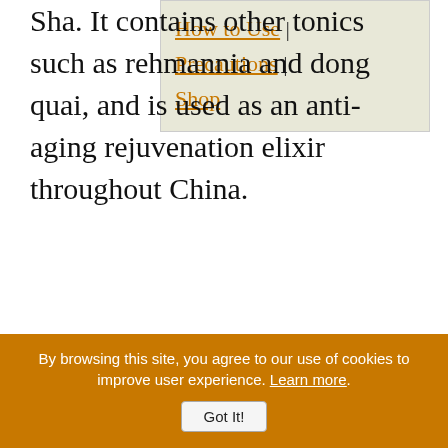Sha. It contains other tonics such as rehmannia and dong quai, and is used as an anti-aging rejuvenation elixir throughout China.
Fo-ti root is known for its ability to concentrate tremendous amounts of "Chi" and nutritional components into its dense root system. When the roots are consumed, these life-giving nutrients are thought to be transferred.
Although it is revered as an overall energizer to the body, fo-ti can also have a calming and grounding
Precautions | Shop
By browsing this site, you agree to our use of cookies to improve user experience. Learn more.
Got It!